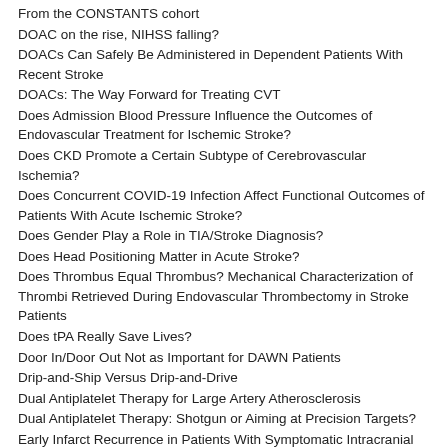From the CONSTANTS cohort
DOAC on the rise, NIHSS falling?
DOACs Can Safely Be Administered in Dependent Patients With Recent Stroke
DOACs: The Way Forward for Treating CVT
Does Admission Blood Pressure Influence the Outcomes of Endovascular Treatment for Ischemic Stroke?
Does CKD Promote a Certain Subtype of Cerebrovascular Ischemia?
Does Concurrent COVID-19 Infection Affect Functional Outcomes of Patients With Acute Ischemic Stroke?
Does Gender Play a Role in TIA/Stroke Diagnosis?
Does Head Positioning Matter in Acute Stroke?
Does Thrombus Equal Thrombus? Mechanical Characterization of Thrombi Retrieved During Endovascular Thrombectomy in Stroke Patients
Does tPA Really Save Lives?
Door In/Door Out Not as Important for DAWN Patients
Drip-and-Ship Versus Drip-and-Drive
Dual Antiplatelet Therapy for Large Artery Atherosclerosis
Dual Antiplatelet Therapy: Shotgun or Aiming at Precision Targets?
Early Infarct Recurrence in Patients With Symptomatic Intracranial Atherosclerotic Disease: Importance of Diagnostic Biomarkers
Early Neurological Recovery in Ischemic Stroke: Time to Consider a Baseline-Adjusted 24-Hour NIHSS